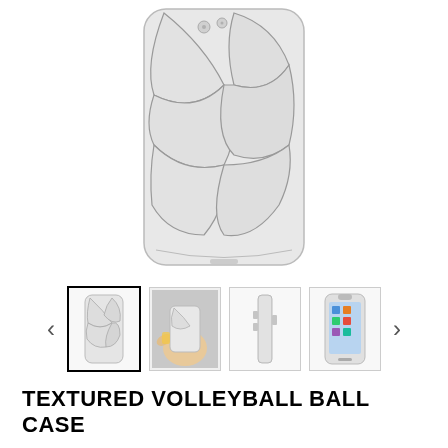[Figure (photo): Close-up of white volleyball-textured iPhone case back, showing geometric panel seams on a white background]
[Figure (photo): Thumbnail gallery row with four product images: (1) selected - front view of white volleyball case on phone, (2) hand holding phone with volleyball case, (3) side profile view of white case, (4) phone with white case showing screen side]
TEXTURED VOLLEYBALL BALL CASE